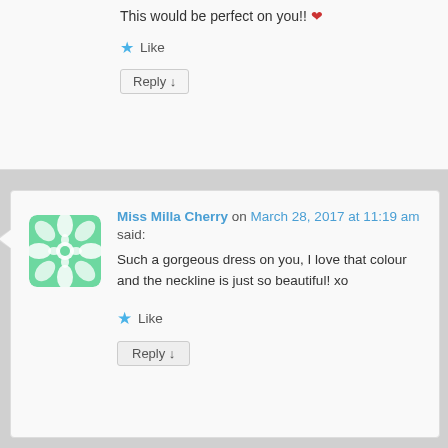This would be perfect on you!! ❤
★ Like
Reply ↓
[Figure (illustration): Green decorative avatar icon with geometric flower/leaf pattern]
Miss Milla Cherry on March 28, 2017 at 11:19 am
said:
Such a gorgeous dress on you, I love that colour and the neckline is just so beautiful! xo
★ Like
Reply ↓